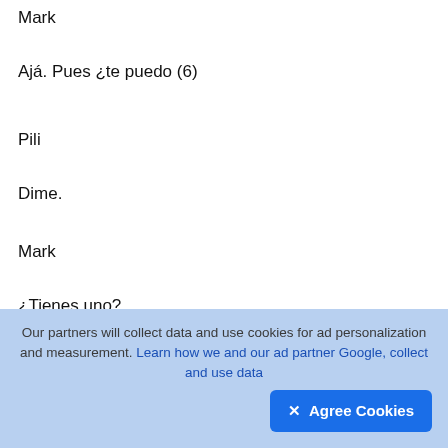Mark
Ajá. Pues ¿te puedo (6)
Pili
Dime.
Mark
¿Tienes uno?
Pili
¿Un martillo? Creo que sí.
Our partners will collect data and use cookies for ad personalization and measurement. Learn how we and our ad partner Google, collect and use data  ✕ Agree Cookies